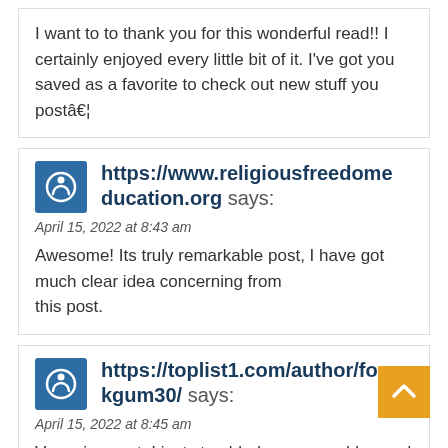I want to to thank you for this wonderful read!! I certainly enjoyed every little bit of it. I've got you saved as a favorite to check out new stuff you postâ€¦
https://www.religiousfreedomeducation.org says:
April 15, 2022 at 8:43 am
Awesome! Its truly remarkable post, I have got much clear idea concerning from this post.
https://toplist1.com/author/forkgum30/ says:
April 15, 2022 at 8:45 am
Very nice post. I just stumbled upon your blog and w to say that